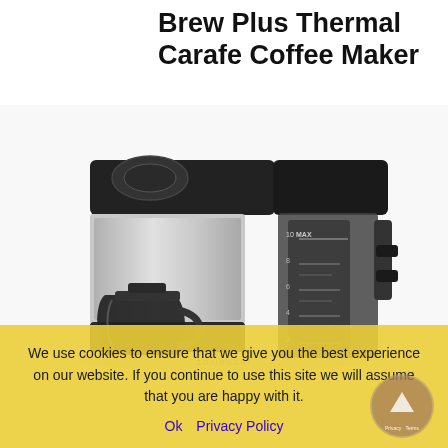Brew Plus Thermal Carafe Coffee Maker
[Figure (photo): Zojirushi Brew Plus Thermal Carafe Coffee Maker product photo. A modern coffee maker with a black and stainless steel body. Features a transparent water reservoir on the right side with measurement markings labeled MAX, 10, 8, 6, 4, 2. The left side shows a brushed stainless steel panel. A black carafe/pitcher is visible at the bottom left. The Zojirushi logo is visible at the bottom of the machine.]
We use cookies to ensure that we give you the best experience on our website. If you continue to use this site we will assume that you are happy with it.
Ok   Privacy Policy